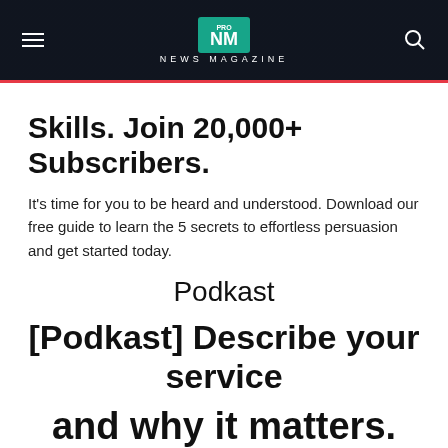NEWS MAGAZINE
Skills. Join 20,000+ Subscribers.
It's time for you to be heard and understood. Download our free guide to learn the 5 secrets to effortless persuasion and get started today.
Podkast
[Podkast] Describe your service
and why it matters.